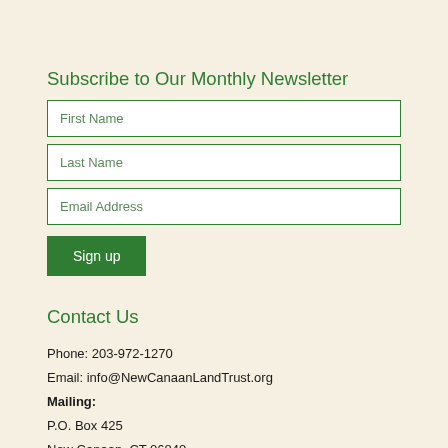Subscribe to Our Monthly Newsletter
First Name
Last Name
Email Address
Sign up
Contact Us
Phone: 203-972-1270
Email: info@NewCanaanLandTrust.org
Mailing:
P.O. Box 425
New Canaan, CT 06840